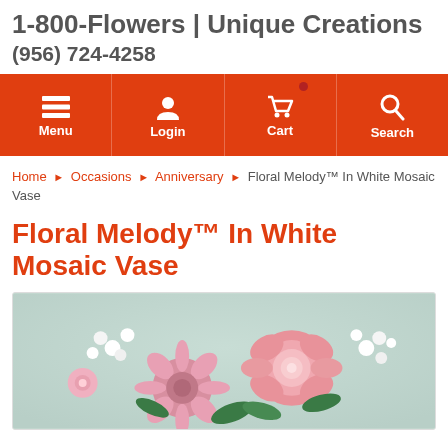1-800-Flowers | Unique Creations
(956) 724-4258
[Figure (screenshot): Navigation bar with orange/red background showing Menu, Login, Cart, and Search icons with labels]
Home › Occasions › Anniversary › Floral Melody™ In White Mosaic Vase
Floral Melody™ In White Mosaic Vase
[Figure (photo): Product photo of pink roses, gerbera daisies, white filler flowers arranged in a floral bouquet against a soft green-grey background]